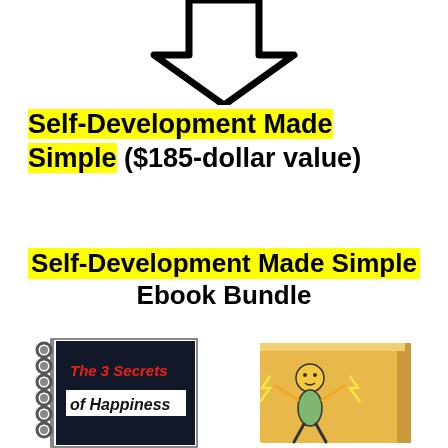[Figure (illustration): Large downward-pointing arrow outline in black]
Self-Development Made Simple ($185-dollar value)
Self-Development Made Simple Ebook Bundle
[Figure (illustration): Two ebook covers side by side: left is 'The 3 Secrets of Happiness' spiral notebook style with dark cover, right is a yellow book with a cartoon person illustration]